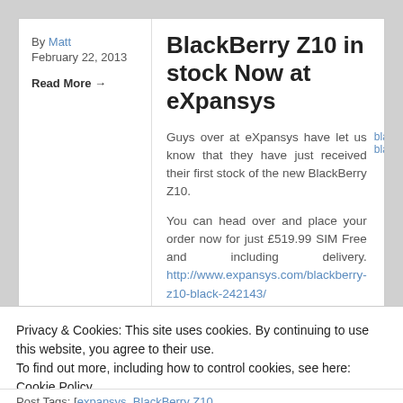By Matt
February 22, 2013
Read More →
BlackBerry Z10 in stock Now at eXpansys
Guys over at eXpansys have let us know that they have just received their first stock of the new BlackBerry Z10.
[Figure (photo): blackberry-z10-black image placeholder]
You can head over and place your order now for just £519.99 SIM Free and including delivery. http://www.expansys.com/blackberry-z10-black-242143/
Privacy & Cookies: This site uses cookies. By continuing to use this website, you agree to their use.
To find out more, including how to control cookies, see here: Cookie Policy
Close and accept
Post Tags: [expansys, BlackBerry Z10,